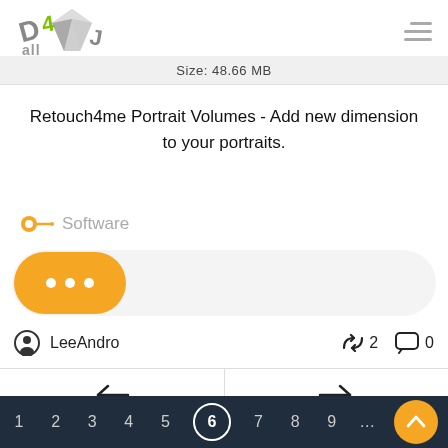[Figure (logo): Down4all logo with green and grey 3D stylized text and diamond shape]
Size: 48.66 MB
Retouch4me Portrait Volumes - Add new dimension to your portraits.
Software
[Figure (screenshot): Orange pill-shaped download button with three white dots]
LeeAndro   ↺ 2   ↩ 0
[Figure (infographic): Navigation row with left arrow (previous) and right arrow (next)]
[Figure (infographic): Pagination bar with page numbers 1-9, page 6 active (circled), ellipsis, and orange scroll-to-top button]